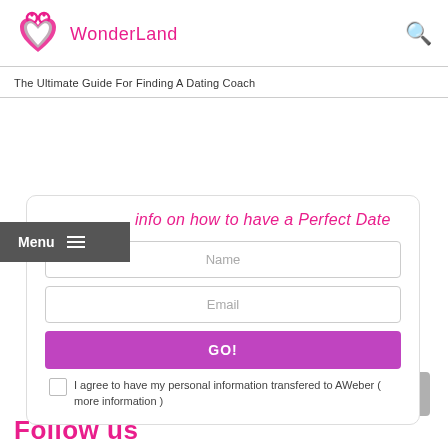WonderLand
The Ultimate Guide For Finding A Dating Coach
[Figure (screenshot): WonderLand website screenshot with logo, navigation menu, sign-up form for dating tips, and follow us section]
Menu
info on how to have a Perfect Date
Name
Email
GO!
I agree to have my personal information transfered to AWeber ( more information )
Follow us